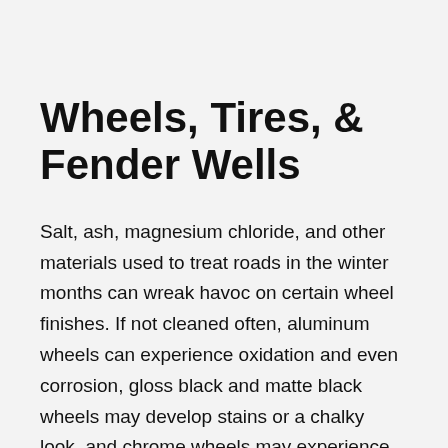Wheels, Tires, & Fender Wells
Salt, ash, magnesium chloride, and other materials used to treat roads in the winter months can wreak havoc on certain wheel finishes. If not cleaned often, aluminum wheels can experience oxidation and even corrosion, gloss black and matte black wheels may develop stains or a chalky look, and chrome wheels may experience discoloration and possibly even flaking off of the chrome plating. Whether you have custom aftermarket wheels or factory wheels, you want them to